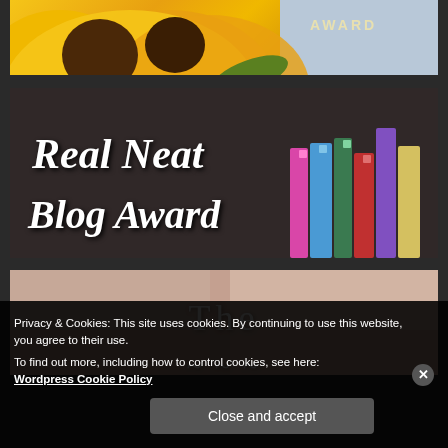[Figure (photo): Sunflower image with 'AWARD' text visible at top right]
[Figure (photo): Real Neat Blog Award image with cursive white text over dark background with colorful books]
[Figure (photo): Partial image showing 'The' text overlay on a light pinkish-beige background, partially cropped]
Privacy & Cookies: This site uses cookies. By continuing to use this website, you agree to their use.
To find out more, including how to control cookies, see here: Wordpress Cookie Policy
Close and accept